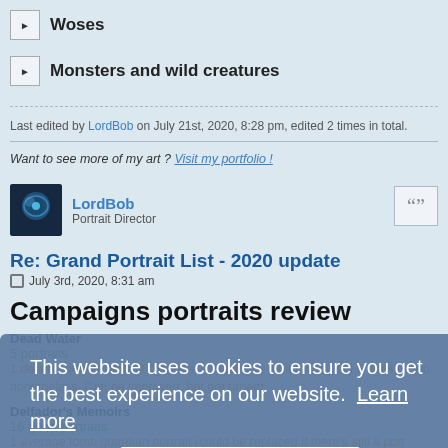▶ Woses
▶ Monsters and wild creatures
Last edited by LordBob on July 21st, 2020, 8:28 pm, edited 2 times in total.
Want to see more of my art ? Visit my portfolio !
LordBob
Portrait Director
Re: Grand Portrait List - 2020 update
July 3rd, 2020, 8:31 am
Campaigns portraits review
Dead Water
5 portraits
1 decent merfolk portrait Cylanna – shading is a bit muddy but it does its job nonetheless. Can be improved, but not urgent
Delfador's Memoirs
16 good portraits
1 average tomb guardian portrait (could be replaced if there's still a port